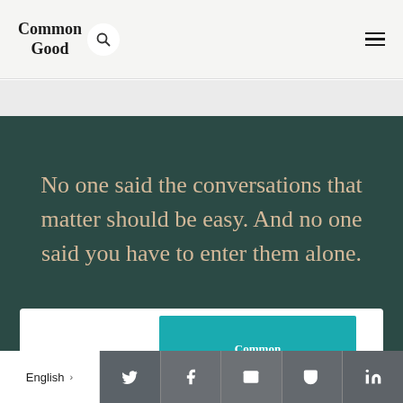Common Good
No one said the conversations that matter should be easy. And no one said you have to enter them alone.
[Figure (screenshot): Common Good book cover in teal with white text, partially visible within a white card on a dark teal background]
English >
[Figure (infographic): Social share buttons: Twitter, Facebook, Email, Pocket, LinkedIn]